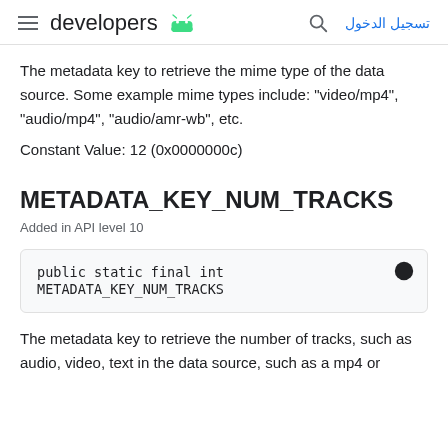developers | تسجيل الدخول
The metadata key to retrieve the mime type of the data source. Some example mime types include: "video/mp4", "audio/mp4", "audio/amr-wb", etc.
Constant Value: 12 (0x0000000c)
METADATA_KEY_NUM_TRACKS
Added in API level 10
public static final int METADATA_KEY_NUM_TRACKS
The metadata key to retrieve the number of tracks, such as audio, video, text in the data source, such as a mp4 or